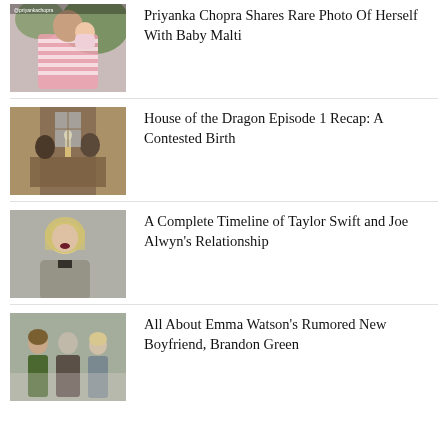[Figure (photo): Priyanka Chopra with baby Malti, woman holding infant with pink headband, striped outfit]
Priyanka Chopra Shares Rare Photo Of Herself With Baby Malti
[Figure (photo): House of the Dragon still, medieval/fantasy interior scene with figures]
House of the Dragon Episode 1 Recap: A Contested Birth
[Figure (photo): Taylor Swift with blonde bob hairstyle in sparkly dress at event]
A Complete Timeline of Taylor Swift and Joe Alwyn's Relationship
[Figure (photo): Emma Watson with group including Brandon Green at an event, green dress]
All About Emma Watson's Rumored New Boyfriend, Brandon Green